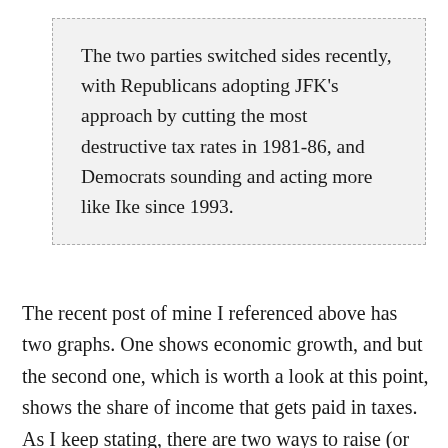The two parties switched sides recently, with Republicans adopting JFK’s approach by cutting the most destructive tax rates in 1981-86, and Democrats sounding and acting more like Ike since 1993.
The recent post of mine I referenced above has two graphs. One shows economic growth, and but the second one, which is worth a look at this point, shows the share of income that gets paid in taxes. As I keep stating, there are two ways to raise (or lower) taxes. One is to raise (or lower) tax rates.